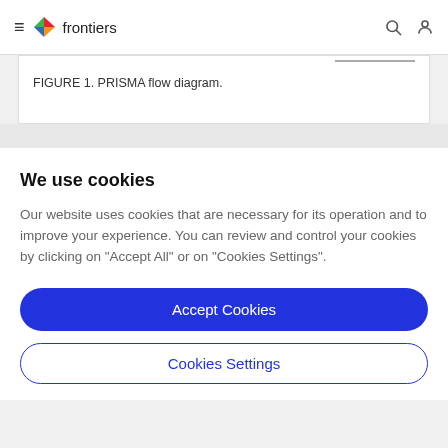frontiers
FIGURE 1. PRISMA flow diagram.
We use cookies
Our website uses cookies that are necessary for its operation and to improve your experience. You can review and control your cookies by clicking on "Accept All" or on "Cookies Settings".
Accept Cookies
Cookies Settings